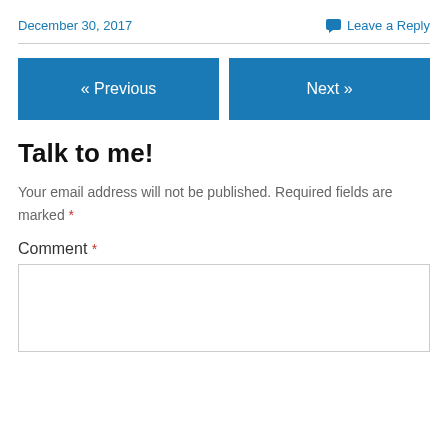December 30, 2017   Leave a Reply
« Previous   Next »
Talk to me!
Your email address will not be published. Required fields are marked *
Comment *